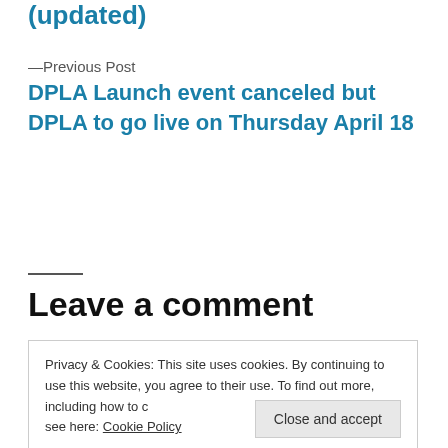(updated)
—Previous Post
DPLA Launch event canceled but DPLA to go live on Thursday April 18
Leave a comment
Privacy & Cookies: This site uses cookies. By continuing to use this website, you agree to their use. To find out more, including how to control cookies, see here: Cookie Policy